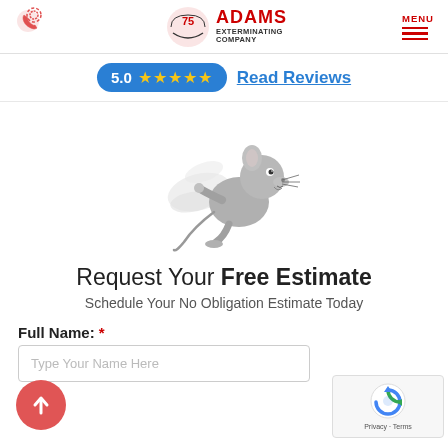Adams Exterminating Company - header with phone icon, logo, and menu
5.0 ★★★★★ Read Reviews
[Figure (illustration): Cartoon mascot of a running mouse/rat character with motion lines, in gray tones]
Request Your Free Estimate
Schedule Your No Obligation Estimate Today
Full Name: *
Type Your Name Here